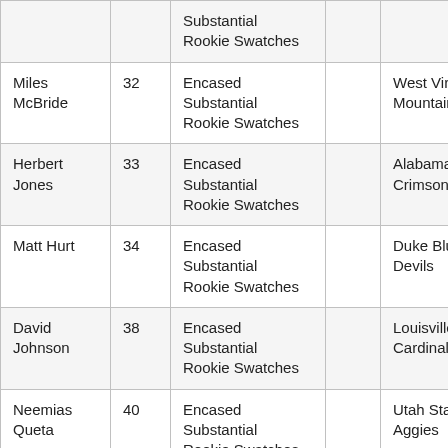|  |  | Substantial Rookie Swatches |  |  |
| Miles McBride | 32 | Encased Substantial Rookie Swatches |  | West Virginia Mountaineers |
| Herbert Jones | 33 | Encased Substantial Rookie Swatches |  | Alabama Crimson Tide |
| Matt Hurt | 34 | Encased Substantial Rookie Swatches |  | Duke Blue Devils |
| David Johnson | 38 | Encased Substantial Rookie Swatches |  | Louisville Cardinals |
| Neemias Queta | 40 | Encased Substantial Rookie Swatches |  | Utah State Aggies |
|  |  |  |  |  |